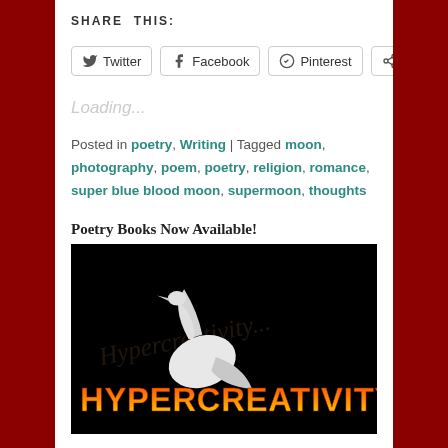SHARE THIS:
Twitter  Facebook  Pinterest  More
Loading...
Posted in poetry, Writing | Tagged moon, photography, poem, poetry, religion, romance, super blue blood moon, supermoon, thoughts
Poetry Books Now Available!
[Figure (illustration): Book cover image with black background, a white bird/crane figure, cursive text 'Hypercreativity' in background, and bold orange-red gradient text 'HYPERCREATIVITY' in foreground]